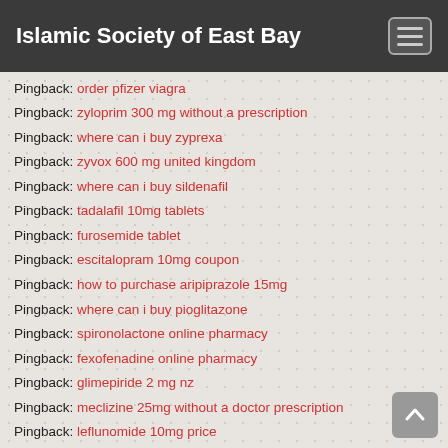Islamic Society of East Bay
Pingback: order pfizer viagra
Pingback: zyloprim 300 mg without a prescription
Pingback: where can i buy zyprexa
Pingback: zyvox 600 mg united kingdom
Pingback: where can i buy sildenafil
Pingback: tadalafil 10mg tablets
Pingback: furosemide tablet
Pingback: escitalopram 10mg coupon
Pingback: how to purchase aripiprazole 15mg
Pingback: where can i buy pioglitazone
Pingback: spironolactone online pharmacy
Pingback: fexofenadine online pharmacy
Pingback: glimepiride 2 mg nz
Pingback: meclizine 25mg without a doctor prescription
Pingback: leflunomide 10mg price
Pingback: order atomoxetine 25mg
Pingback: cheap donepezil